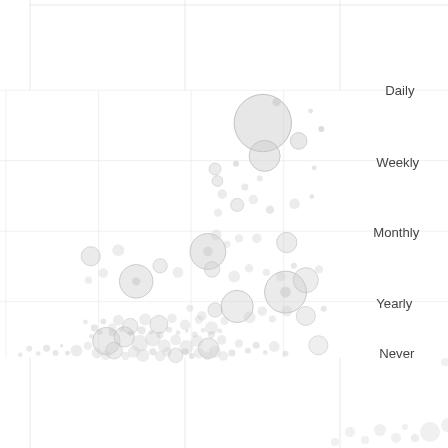[Figure (bubble-chart): A bubble chart showing data points of varying sizes distributed across frequency categories: Daily (top, cut off), Weekly, Monthly, Yearly, Never. Bubbles are gray/light colored with varying sizes indicating magnitude. Most bubbles cluster in the center-right area, with denser clusters toward the bottom (Never/Yearly) and sparser, larger bubbles toward the top (Daily/Weekly).]